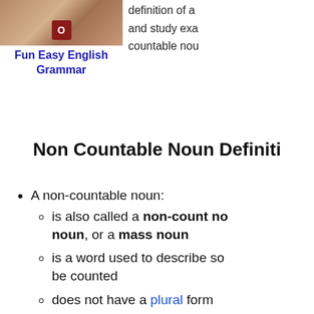[Figure (photo): Photo of scrabble tiles or similar educational game pieces on a shelf]
Fun Easy English Grammar
definition of a and study exa countable nou
Non Countable Noun Definiti
A non-countable noun:
is also called a non-count noun, or a mass noun
is a word used to describe so be counted
does not have a plural form
is similar to a collective noun